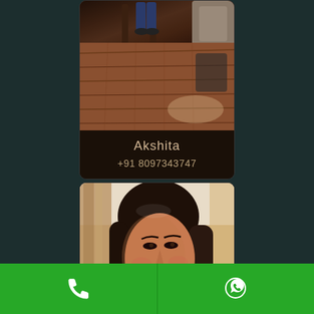[Figure (photo): Contact card for Akshita showing a photo of a room with wooden floor, furniture legs and sofa visible, with name 'Akshita' and phone number '+91 8097343747' displayed below]
[Figure (photo): Second photo showing a young woman with dark hair, looking toward the camera, in a room with curtains]
[Figure (infographic): Bottom action bar with two green buttons: a phone call button on the left and a WhatsApp button on the right]